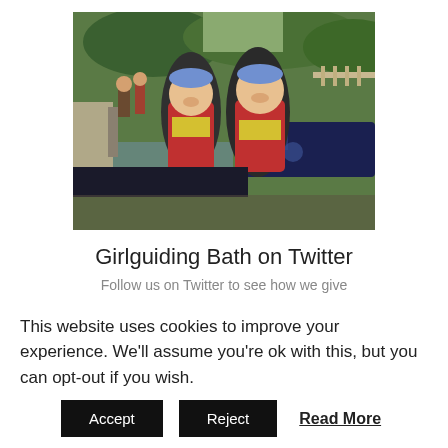[Figure (photo): Two girls wearing life jackets and blue caps smiling outdoors near a canal with a narrowboat in the background. Other people visible in the background near a lock.]
Girlguiding Bath on Twitter
Follow us on Twitter to see how we give
This website uses cookies to improve your experience. We'll assume you're ok with this, but you can opt-out if you wish.
Accept | Reject | Read More